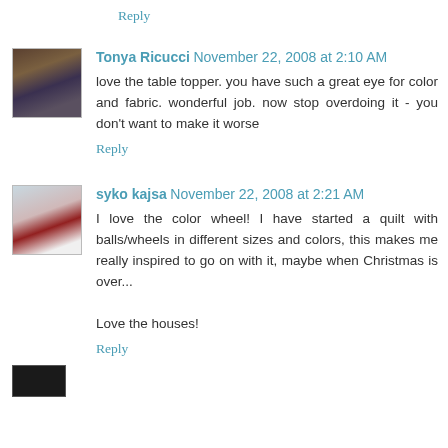Reply
Tonya Ricucci November 22, 2008 at 2:10 AM
love the table topper. you have such a great eye for color and fabric. wonderful job. now stop overdoing it - you don't want to make it worse
Reply
[Figure (photo): Avatar photo of Tonya Ricucci]
syko kajsa November 22, 2008 at 2:21 AM
I love the color wheel! I have started a quilt with balls/wheels in different sizes and colors, this makes me really inspired to go on with it, maybe when Christmas is over...

Love the houses!
Reply
[Figure (photo): Avatar photo of syko kajsa]